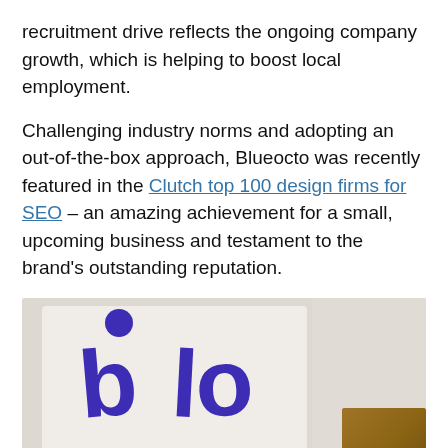recruitment drive reflects the ongoing company growth, which is helping to boost local employment.
Challenging industry norms and adopting an out-of-the-box approach, Blueocto was recently featured in the Clutch top 100 design firms for SEO – an amazing achievement for a small, upcoming business and testament to the brand's outstanding reputation.
[Figure (photo): Photo of a white sign or board with the 'blo' logo in purple/blue lettering, and a brown wooden surface visible in the right portion. The bottom shows partial text '.o.uk' suggesting a URL.]